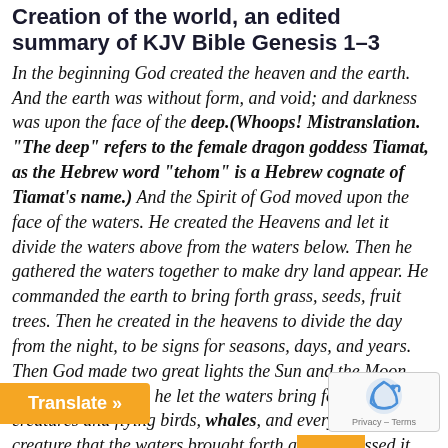Creation of the world, an edited summary of KJV Bible Genesis 1–3
In the beginning God created the heaven and the earth. And the earth was without form, and void; and darkness was upon the face of the deep.(Whoops! Mistranslation. "The deep" refers to the female dragon goddess Tiamat, as the Hebrew word "tehom" is a Hebrew cognate of Tiamat's name.) And the Spirit of God moved upon the face of the waters. He created the Heavens and let it divide the waters above from the waters below. Then he gathered the waters together to make dry land appear. He commanded the earth to bring forth grass, seeds, fruit trees. Then he created in the heavens to divide the day from the night, to be signs for seasons, days, and years. Then God made two great lights the Sun and the Moon and the stars. Then he let the waters bring forth moving creatures and flying birds, whales, and every living creature that the waters brought forth a[...]ssed it all. (Whoops! Whales is a m[...]he Hebrew word "taninim", meaning